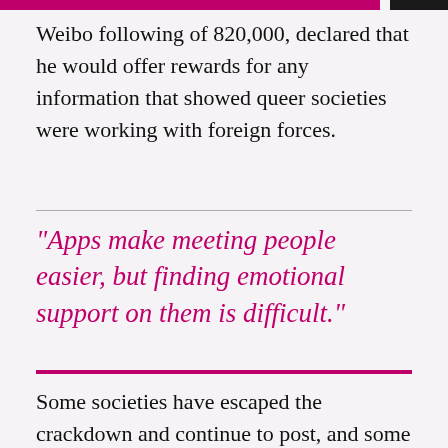Weibo following of 820,000, declared that he would offer rewards for any information that showed queer societies were working with foreign forces.
“Apps make meeting people easier, but finding emotional support on them is difficult.”
Some societies have escaped the crackdown and continue to post, and some people have moved off Chinese social media altogether. Anne, who led a queer society, said that she